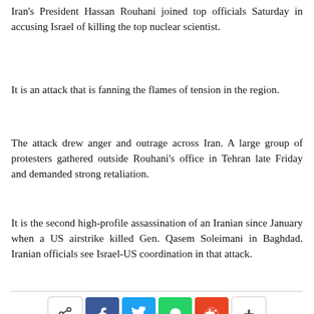Iran's President Hassan Rouhani joined top officials Saturday in accusing Israel of killing the top nuclear scientist.
It is an attack that is fanning the flames of tension in the region.
The attack drew anger and outrage across Iran. A large group of protesters gathered outside Rouhani's office in Tehran late Friday and demanded strong retaliation.
It is the second high-profile assassination of an Iranian since January when a US airstrike killed Gen. Qasem Soleimani in Baghdad. Iranian officials see Israel-US coordination in that attack.
[Figure (infographic): Social share bar with share icon, Facebook, Twitter, WhatsApp, Reddit, and more (+) buttons]